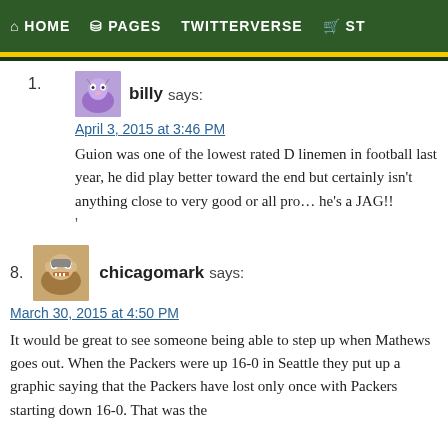HOME  PAGES  TWITTERVERSE  ST
1. billy says:
April 3, 2015 at 3:46 PM

Guion was one of the lowest rated D linemen in football last year, he did play better toward the end but certainly isn't anything close to very good or all pro… he's a JAG!!
8. chicagomark says:
March 30, 2015 at 4:50 PM

It would be great to see someone being able to step up when Mathews goes out. When the Packers were up 16-0 in Seattle they put up a graphic saying that the Packers have lost only once with Packers starting down 16-0. That was the...